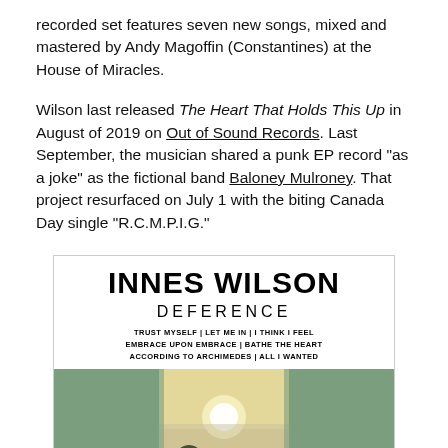recorded set features seven new songs, mixed and mastered by Andy Magoffin (Constantines) at the House of Miracles.
Wilson last released The Heart That Holds This Up in August of 2019 on Out of Sound Records. Last September, the musician shared a punk EP record "as a joke" as the fictional band Baloney Mulroney. That project resurfaced on July 1 with the biting Canada Day single "R.C.M.P.I.G."
[Figure (illustration): Album cover for Innes Wilson - Deference. White top section with bold black text showing artist name INNES WILSON and album title DEFERENCE, with tracklist below. Bottom section shows a landscape photo with green fields on sides and a central image of a hazy sunrise/sunset over trees.]